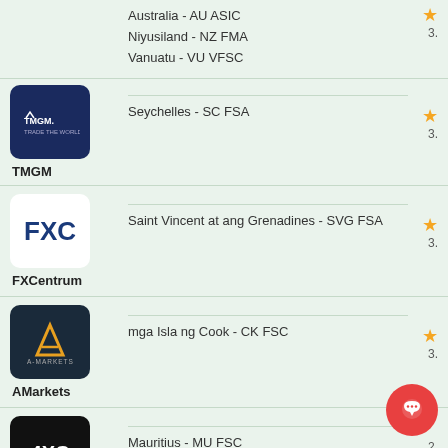TMGM — Australia - AU ASIC, Niyusiland - NZ FMA, Vanuatu - VU VFSC; Rating: 3.
TMGM — Seychelles - SC FSA; Rating: 3.
FXCentrum — Saint Vincent at ang Grenadines - SVG FSA; Rating: 3.
AMarkets — mga Isla ng Cook - CK FSC; Rating: 3.
4XC — Mauritius - MU FSC; Rating: 2.